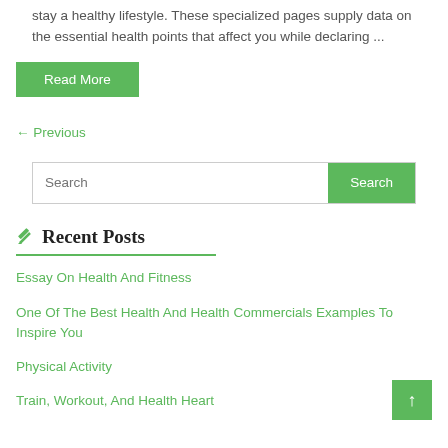stay a healthy lifestyle. These specialized pages supply data on the essential health points that affect you while declaring ...
Read More
← Previous
Search
✏ Recent Posts
Essay On Health And Fitness
One Of The Best Health And Health Commercials Examples To Inspire You
Physical Activity
Train, Workout, And Health Heart